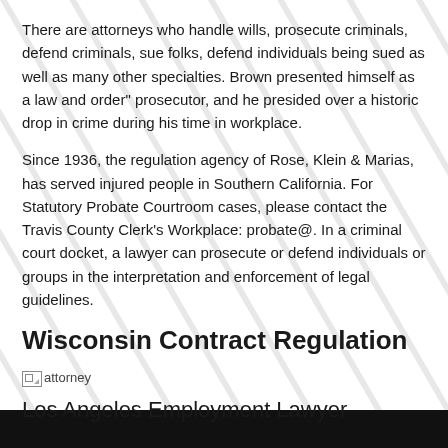There are attorneys who handle wills, prosecute criminals, defend criminals, sue folks, defend individuals being sued as well as many other specialties. Brown presented himself as a law and order" prosecutor, and he presided over a historic drop in crime during his time in workplace.
Since 1936, the regulation agency of Rose, Klein & Marias, has served injured people in Southern California. For Statutory Probate Courtroom cases, please contact the Travis County Clerk's Workplace: probate@. In a criminal court docket, a lawyer can prosecute or defend individuals or groups in the interpretation and enforcement of legal guidelines.
Wisconsin Contract Regulation
[Figure (other): Broken image placeholder labeled 'attorney']
Los Angeles Employment Lawyer